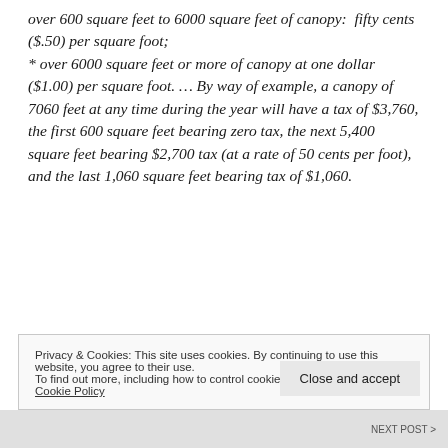over 600 square feet to 6000 square feet of canopy: fifty cents ($.50) per square foot; * over 6000 square feet or more of canopy at one dollar ($1.00) per square foot. ... By way of example, a canopy of 7060 feet at any time during the year will have a tax of $3,760, the first 600 square feet bearing zero tax, the next 5,400 square feet bearing $2,700 tax (at a rate of 50 cents per foot), and the last 1,060 square feet bearing tax of $1,060.
Privacy & Cookies: This site uses cookies. By continuing to use this website, you agree to their use. To find out more, including how to control cookies, see here: Cookie Policy
Close and accept